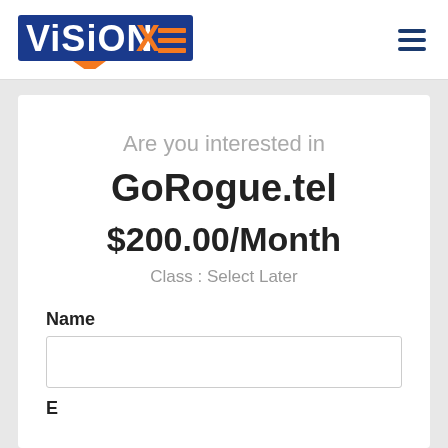[Figure (logo): VisionXE logo with blue and orange text and arrow graphic]
Are you interested in
GoRogue.tel
$200.00/Month
Class : Select Later
Name